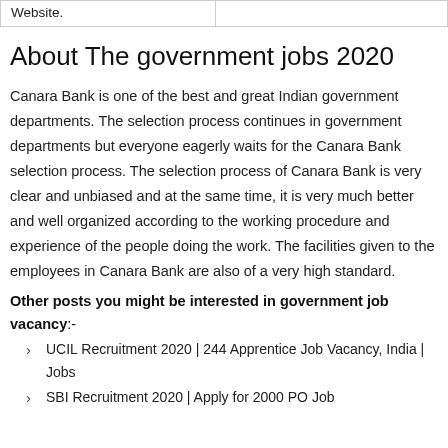| Website. |  |
About The government jobs 2020
Canara Bank is one of the best and great Indian government departments. The selection process continues in government departments but everyone eagerly waits for the Canara Bank selection process. The selection process of Canara Bank is very clear and unbiased and at the same time, it is very much better and well organized according to the working procedure and experience of the people doing the work. The facilities given to the employees in Canara Bank are also of a very high standard.
Other posts you might be interested in government job vacancy:-
UCIL Recruitment 2020 | 244 Apprentice Job Vacancy, India | Jobs
SBI Recruitment 2020 | Apply for 2000 PO Job